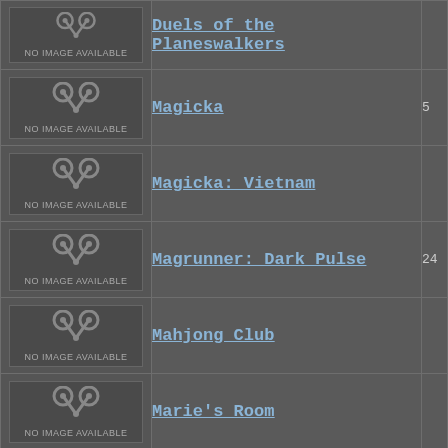| Image | Name | Number |
| --- | --- | --- |
| NO IMAGE AVAILABLE | Duels of the Planeswalkers |  |
| NO IMAGE AVAILABLE | Magicka | 5 |
| NO IMAGE AVAILABLE | Magicka: Vietnam |  |
| NO IMAGE AVAILABLE | Magrunner: Dark Pulse | 24 |
| NO IMAGE AVAILABLE | Mahjong Club |  |
| NO IMAGE AVAILABLE | Marie's Room |  |
| NO IMAGE AVAILABLE |  |  |